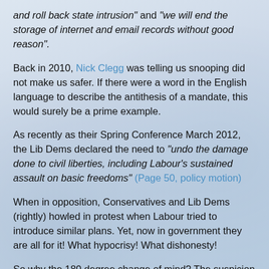and roll back state intrusion" and "we will end the storage of internet and email records without good reason".
Back in 2010, Nick Clegg was telling us snooping did not make us safer. If there were a word in the English language to describe the antithesis of a mandate, this would surely be a prime example.
As recently as their Spring Conference March 2012, the Lib Dems declared the need to "undo the damage done to civil liberties, including Labour’s sustained assault on basic freedoms" (Page 50, policy motion)
When in opposition, Conservatives and Lib Dems (rightly) howled in protest when Labour tried to introduce similar plans. Yet, now in government they are all for it! What hypocrisy! What dishonesty!
So why the 180 degree change of mind? The suspicion is that this is a civil service driven policy. When Sir Humphrey fails to push through a much cherished plan with the sitting minister, he simply waits for the next hapless stooge to be